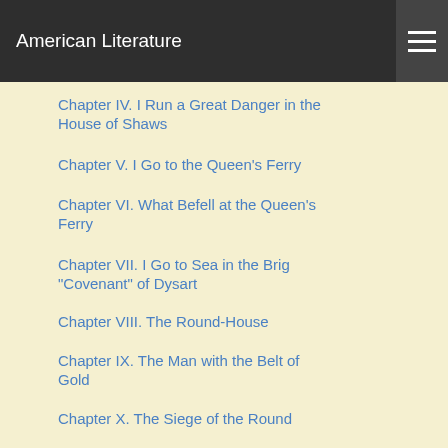American Literature
Chapter IV. I Run a Great Danger in the House of Shaws
Chapter V. I Go to the Queen's Ferry
Chapter VI. What Befell at the Queen's Ferry
Chapter VII. I Go to Sea in the Brig "Covenant" of Dysart
Chapter VIII. The Round-House
Chapter IX. The Man with the Belt of Gold
Chapter X. The Siege of the Round...